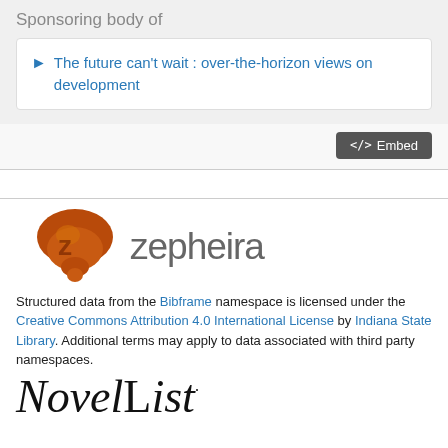Sponsoring body of
The future can't wait : over-the-horizon views on development
</> Embed
[Figure (logo): Zepheira logo with brown mushroom-like icon and 'zepheira' wordmark in gray sans-serif]
Structured data from the Bibframe namespace is licensed under the Creative Commons Attribution 4.0 International License by Indiana State Library. Additional terms may apply to data associated with third party namespaces.
[Figure (logo): NoveList logo in large serif italic font]